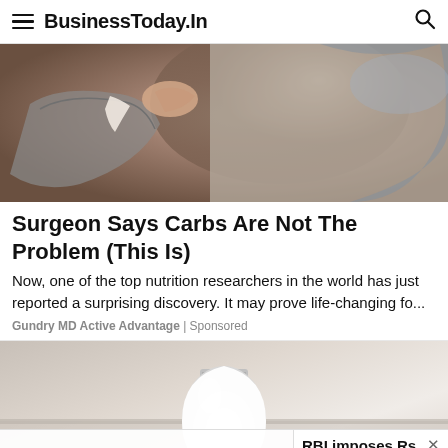BusinessToday.In
[Figure (photo): A person in a grey suit pointing at something, partially visible, with a textured surface in the background.]
Surgeon Says Carbs Are Not The Problem (This Is)
Now, one of the top nutrition researchers in the world has just reported a surprising discovery. It may prove life-changing fo...
Gundry MD Active Advantage | Sponsored
[Figure (photo): A hand holding a white LED light bulb against a light beige background.]
RBI imposes Rs 5 lakh penalty on National Urban Co-operative Bank
RBI imposes Rs 5 lak...
RECOMMENDED